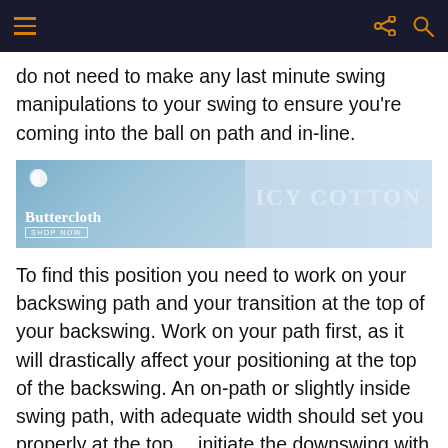Navigation bar with menu, share, and search icons
do not need to make any last minute swing manipulations to your swing to ensure you're coming into the ball on path and in-line.
[Figure (illustration): Advertisement banner for Buttercloth Icy Cotton Spring Collection featuring a man in a light blue shirt]
To find this position you need to work on your backswing path and your transition at the top of your backswing. Work on your path first, as it will drastically affect your positioning at the top of the backswing. An on-path or slightly inside swing path, with adequate width should set you properly at the top… initiate the downswing with your hips unwinding